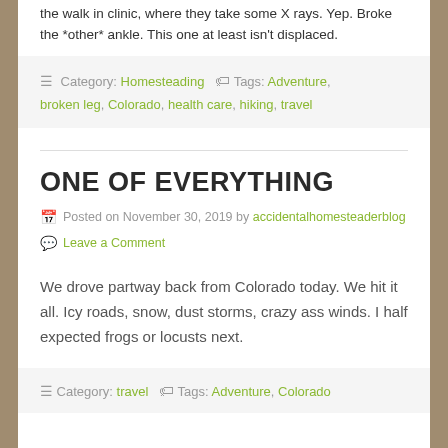the walk in clinic, where they take some X rays. Yep. Broke the *other* ankle. This one at least isn't displaced.
Category: Homesteading   Tags: Adventure, broken leg, Colorado, health care, hiking, travel
ONE OF EVERYTHING
Posted on November 30, 2019 by accidentalhomesteaderblog
Leave a Comment
We drove partway back from Colorado today. We hit it all. Icy roads, snow, dust storms, crazy ass winds. I half expected frogs or locusts next.
Category: travel   Tags: Adventure, Colorado